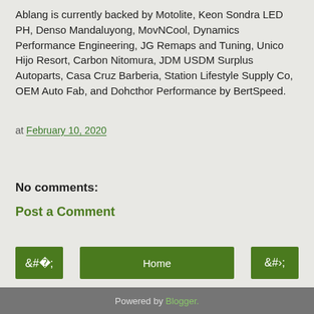Ablang is currently backed by Motolite, Keon Sondra LED PH, Denso Mandaluyong, MovNCool, Dynamics Performance Engineering, JG Remaps and Tuning, Unico Hijo Resort, Carbon Nitomura, JDM USDM Surplus Autoparts, Casa Cruz Barberia, Station Lifestyle Supply Co, OEM Auto Fab, and Dohcthor Performance by BertSpeed.
at February 10, 2020
Share
No comments:
Post a Comment
‹
Home
›
View web version
Powered by Blogger.